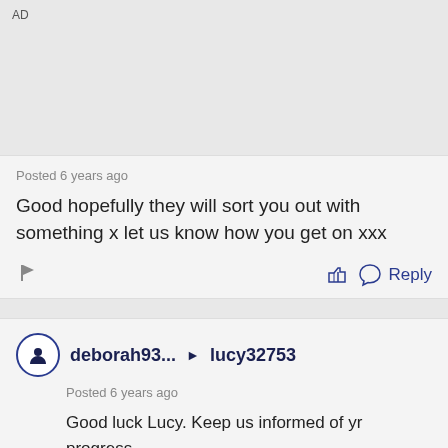AD
Posted 6 years ago
Good hopefully they will sort you out with something x let us know how you get on xxx
deborah93... ▶ lucy32753
Posted 6 years ago
Good luck Lucy. Keep us informed of yr progress.
Good luck at yr GP.
D